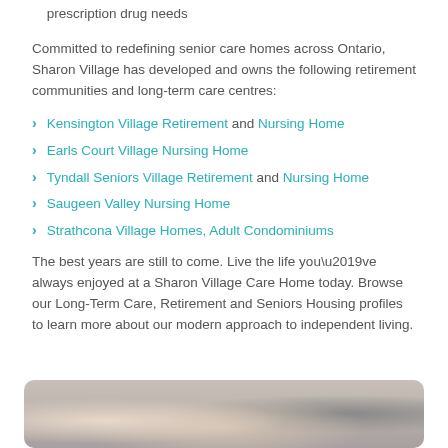prescription drug needs
Committed to redefining senior care homes across Ontario, Sharon Village has developed and owns the following retirement communities and long-term care centres:
Kensington Village Retirement and Nursing Home
Earls Court Village Nursing Home
Tyndall Seniors Village Retirement and Nursing Home
Saugeen Valley Nursing Home
Strathcona Village Homes, Adult Condominiums
The best years are still to come. Live the life you’ve always enjoyed at a Sharon Village Care Home today. Browse our Long-Term Care, Retirement and Seniors Housing profiles to learn more about our modern approach to independent living.
[Figure (photo): Photo of elderly people in a care home setting]